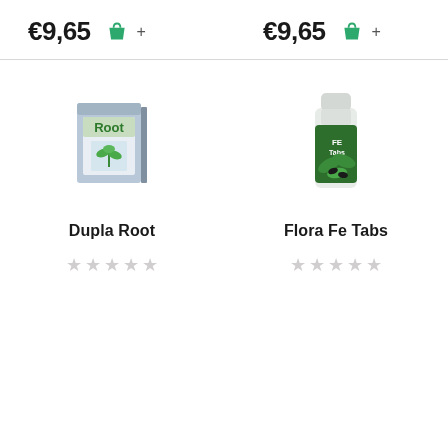€9,65
€9,65
[Figure (photo): Dupla Root plant fertilizer box product image]
Dupla Root
[Figure (photo): Flora Fe Tabs plant fertilizer bottle product image]
Flora Fe Tabs